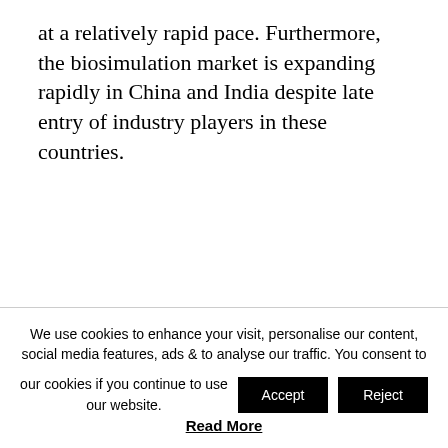at a relatively rapid pace. Furthermore, the biosimulation market is expanding rapidly in China and India despite late entry of industry players in these countries.
We use cookies to enhance your visit, personalise our content, social media features, ads & to analyse our traffic. You consent to our cookies if you continue to use our website. Accept Reject Read More